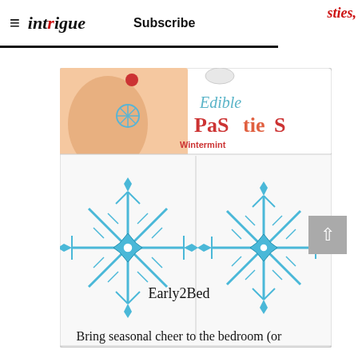≡ intrigue   Subscribe   sties,
[Figure (photo): Product photo of Edible Pasties Wintermint packaging showing two blue snowflake-shaped pasties in clear packaging with a header image showing them in use. Brand logo reads 'Edible PaSties' in red/teal lettering with 'Wintermint' flavor label.]
Early2Bed
Bring seasonal cheer to the bedroom (or